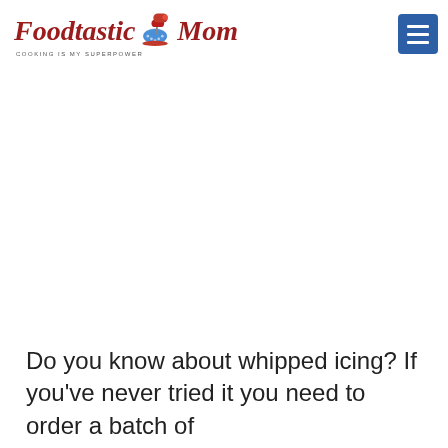Foodtastic Mom — COOKING IS MY SUPERPOWER
[Figure (other): Advertisement/blank area in the middle of the page]
Do you know about whipped icing? If you've never tried it you need to order a batch of cupcakes from your Kroger bakery and ask for